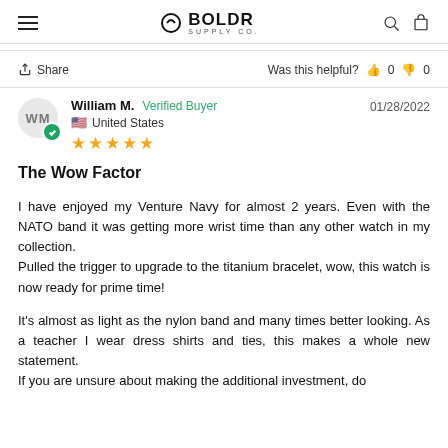BOLDR SUPPLY CO.
Share   Was this helpful? 0  0
William M.  Verified Buyer   01/28/2022
United States
★★★★★
The Wow Factor
I have enjoyed my Venture Navy for almost 2 years. Even with the NATO band it was getting more wrist time than any other watch in my collection.
Pulled the trigger to upgrade to the titanium bracelet, wow, this watch is now ready for prime time!

It's almost as light as the nylon band and many times better looking. As a teacher I wear dress shirts and ties, this makes a whole new statement.
If you are unsure about making the additional investment, do